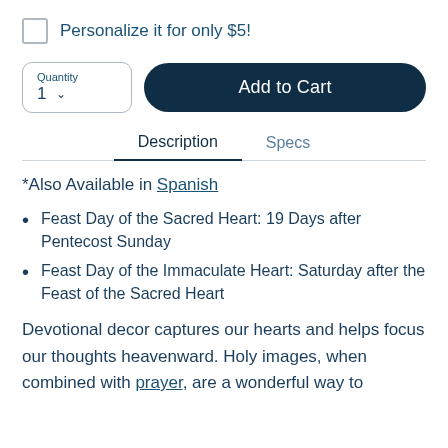Personalize it for only $5!
Quantity 1  [dropdown]  Add to Cart
Description   Specs
*Also Available in Spanish
Feast Day of the Sacred Heart: 19 Days after Pentecost Sunday
Feast Day of the Immaculate Heart: Saturday after the Feast of the Sacred Heart
Devotional decor captures our hearts and helps focus our thoughts heavenward. Holy images, when combined with prayer, are a wonderful way to